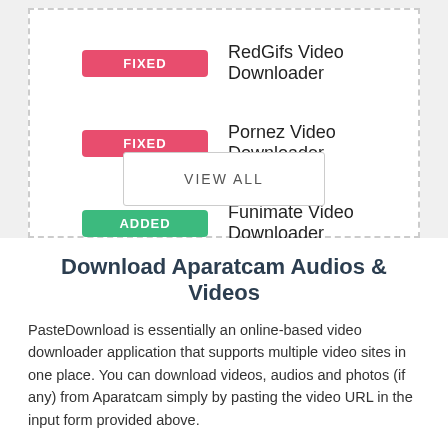FIXED — RedGifs Video Downloader
FIXED — Pornez Video Downloader
ADDED — Funimate Video Downloader
VIEW ALL
Download Aparatcam Audios & Videos
PasteDownload is essentially an online-based video downloader application that supports multiple video sites in one place. You can download videos, audios and photos (if any) from Aparatcam simply by pasting the video URL in the input form provided above.